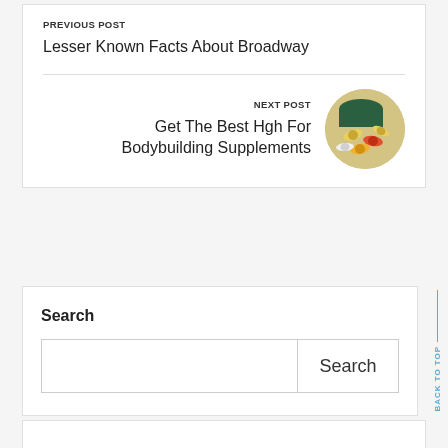PREVIOUS POST
Lesser Known Facts About Broadway
NEXT POST
Get The Best Hgh For Bodybuilding Supplements
[Figure (photo): Circular thumbnail image of bodybuilding supplement pills and capsules spilling from a green container]
Search
Search